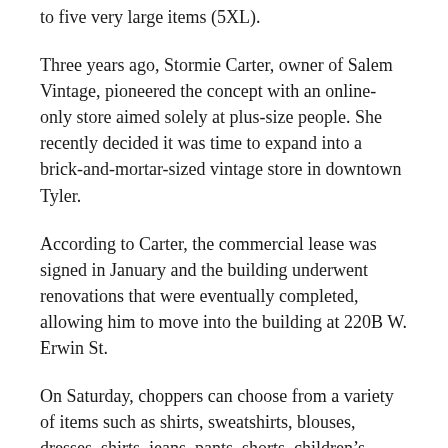to five very large items (5XL).
Three years ago, Stormie Carter, owner of Salem Vintage, pioneered the concept with an online-only store aimed solely at plus-size people. She recently decided it was time to expand into a brick-and-mortar-sized vintage store in downtown Tyler.
According to Carter, the commercial lease was signed in January and the building underwent renovations that were eventually completed, allowing him to move into the building at 220B W. Erwin St.
On Saturday, choppers can choose from a variety of items such as shirts, sweatshirts, blouses, dresses, shirts, jeans, pants, shorts, children’s clothing, home decorations , trinkets and shoes.
Carter views her shop as a dark, rustic college aesthetic with 80s and 90s and a Victorian flair.